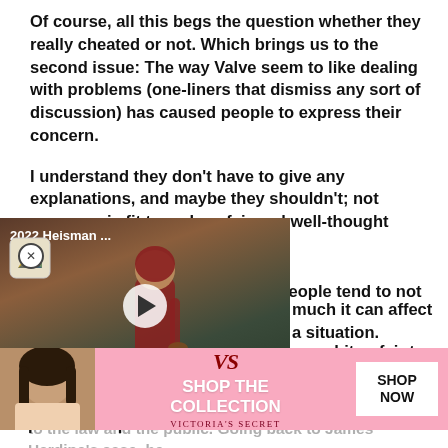Of course, all this begs the question whether they really cheated or not. Which brings us to the second issue: The way Valve seem to like dealing with problems (one-liners that dismiss any sort of discussion) has caused people to express their concern.
I understand they don't have to give any explanations, and maybe they shouldn't; not everyone is fit to make a fair and well-thought judgement on matters like this. People tend to not take their own [bias into account] much it can affect a situation.
[Figure (screenshot): Embedded video player thumbnail showing '2022 Heisman...' with a football player image and a play button overlay]
[...] ms a bit unfair to not even give the [accused] end themselves. Even in court, regarding actual crimes, people get the chance to prove their point
to the law and the public. Going back to James Hardine's case, he seemed [...] seems that these 2 teams didn't know they were being invest...
[Figure (screenshot): Victoria's Secret advertisement banner with model photo, VS logo, 'SHOP THE COLLECTION' text, and 'SHOP NOW' button]